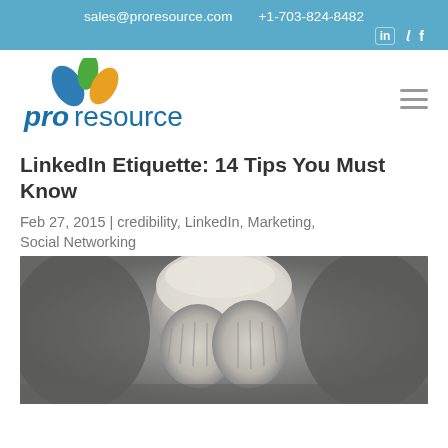sales@proresource.com   +1-703-824-8482
[Figure (logo): ProResource company logo with blue and green/yellow leaf icon and 'proresource' wordmark in blue]
LinkedIn Etiquette: 14 Tips You Must Know
Feb 27, 2015 | credibility, LinkedIn, Marketing, Social Networking
[Figure (photo): Black and white photo of a young child covering their face with both hands]